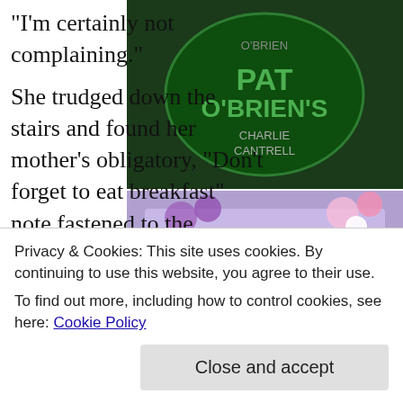“I’m certainly not complaining.”
[Figure (photo): Pat O'Brien's book cover/sign by Charlie Cantrell, illuminated green neon sign]
She trudged down the stairs and found her mother’s obligatory, “Don’t forget to eat breakfast” note fastened to the refrigerator door—as if she’d even look at the fridge if she weren’t already in breakfast mode.
[Figure (photo): Book cover of Successor by Mickey Connie, surrounded by purple and white flowers]
Rifling past the food savers and soda cans, she sighed.  Would a few eggs be too much to ask for? She grabbed the milk and closed the door. Cereal would
[Figure (photo): Newsletter sign-up graphic with decorative border]
Privacy & Cookies: This site uses cookies. By continuing to use this website, you agree to their use.
To find out more, including how to control cookies, see here: Cookie Policy
Close and accept